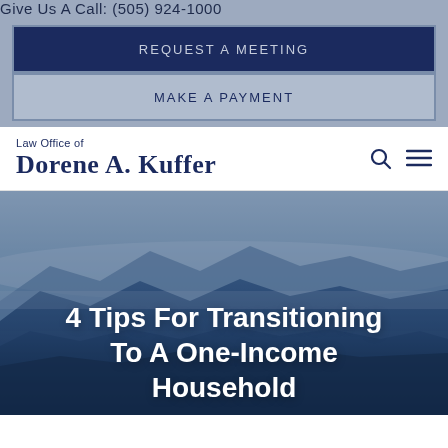Give Us A Call: (505) 924-1000
REQUEST A MEETING
MAKE A PAYMENT
Law Office of Dorene A. Kuffer
[Figure (photo): Mountain landscape with blue haze, New Mexico style panoramic mountains viewed from above the clouds]
4 Tips For Transitioning To A One-Income Household